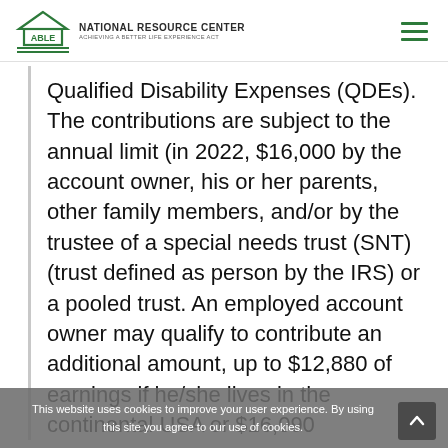ABLE National Resource Center — Achieving a Better Life Experience Act
Qualified Disability Expenses (QDEs). The contributions are subject to the annual limit (in 2022, $16,000 by the account owner, his or her parents, other family members, and/or by the trustee of a special needs trust (SNT) (trust defined as person by the IRS) or a pooled trust. An employed account owner may qualify to contribute an additional amount, up to $12,880 of earnings if he/she lives in the continental USA or $16,090
This website uses cookies to improve your user experience. By using this site you agree to our use of cookies.